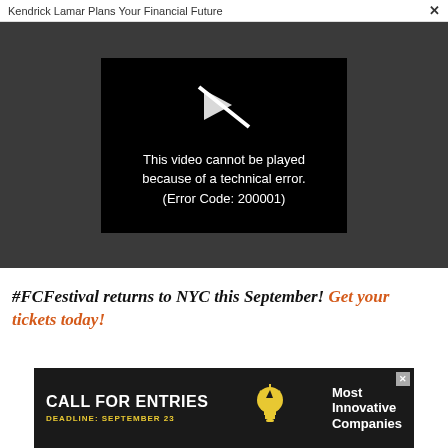Kendrick Lamar Plans Your Financial Future ×
[Figure (screenshot): Video player showing error message: 'This video cannot be played because of a technical error. (Error Code: 200001)' with broken play icon on dark background]
#FCFestival returns to NYC this September! Get your tickets today!
[Figure (infographic): Advertisement banner: CALL FOR ENTRIES, DEADLINE: SEPTEMBER 23, lightbulb icon, Most Innovative Companies, dark background]